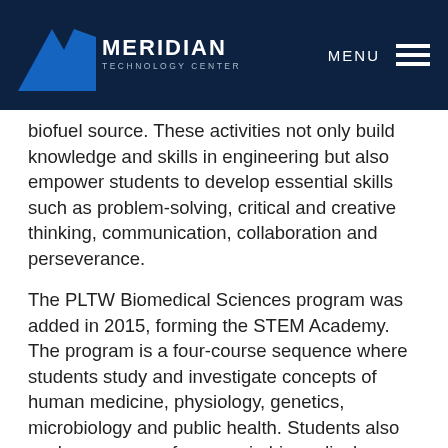Meridian Technology Center
biofuel source. These activities not only build knowledge and skills in engineering but also empower students to develop essential skills such as problem-solving, critical and creative thinking, communication, collaboration and perseverance.
The PLTW Biomedical Sciences program was added in 2015, forming the STEM Academy. The program is a four-course sequence where students study and investigate concepts of human medicine, physiology, genetics, microbiology and public health. Students also explore a range of careers in biomedical sciences as they learn content in the context of real-world, hands-on activities, projects and problems.
Core courses in this program include principles of biomedical sciences, human body systems, medical